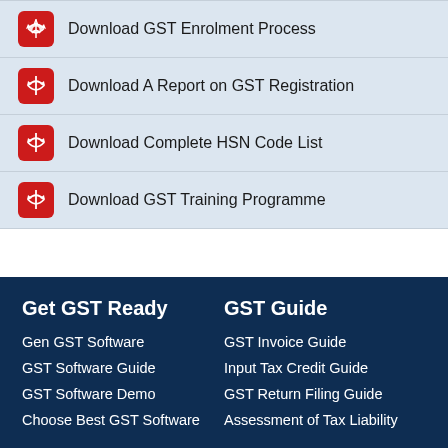Download GST Enrolment Process
Download A Report on GST Registration
Download Complete HSN Code List
Download GST Training Programme
Get GST Ready
GST Guide
Gen GST Software
GST Software Guide
GST Software Demo
Choose Best GST Software
GST Invoice Guide
Input Tax Credit Guide
GST Return Filing Guide
Assessment of Tax Liability